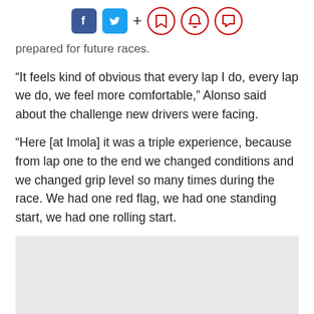Social sharing icons: Facebook, Twitter, plus, bookmark, notification, comment
prepared for future races.
“It feels kind of obvious that every lap I do, every lap we do, we feel more comfortable,” Alonso said about the challenge new drivers were facing.
“Here [at Imola] it was a triple experience, because from lap one to the end we changed conditions and we changed grip level so many times during the race. We had one red flag, we had one standing start, we had one rolling start.
[Figure (other): Gray advertisement placeholder box]